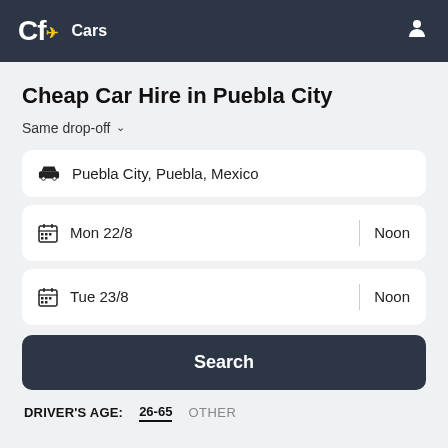Cf Cars
Cheap Car Hire in Puebla City
Same drop-off
Puebla City, Puebla, Mexico
Mon 22/8  |  Noon
Tue 23/8  |  Noon
Search
DRIVER'S AGE:  26-65  OTHER